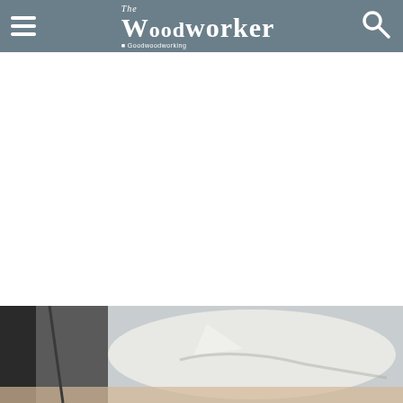The Woodworker | Goodwoodworking
[Figure (photo): Close-up photograph of a piece of white fabric or cloth being held or worked on a wooden surface, with soft diffused background lighting.]